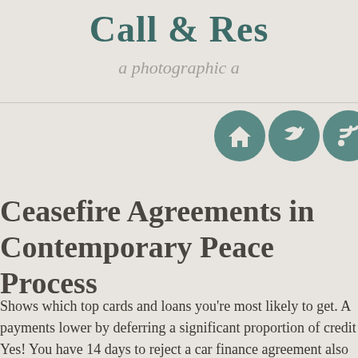Call & Res
a photographic a
[Figure (illustration): Three circular teal icons showing a house, a bird (Twitter), and an RSS feed symbol]
Ceasefire Agreements in Contemporary Peace Process
Shows which top cards and loans you're most likely to get. A payments lower by deferring a significant proportion of credit Yes! You have 14 days to reject a car finance agreement also